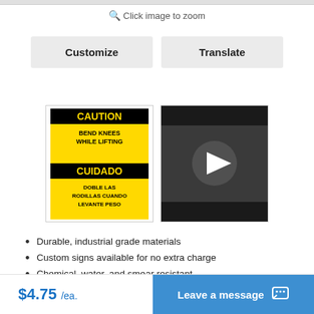Click image to zoom
Customize
Translate
[Figure (photo): Thumbnail of a yellow caution sign reading 'CAUTION BEND KNEES WHILE LIFTING / CUIDADO DOBLE LAS RODILLAS CUANDO LEVANTE PESO']
[Figure (photo): Video thumbnail with a play button on a dark background]
Durable, industrial grade materials
Custom signs available for no extra charge
Chemical, water, and smear resistant
Easy peel and stick application
Available in multiple sizes
$4.75 /ea.
Leave a message